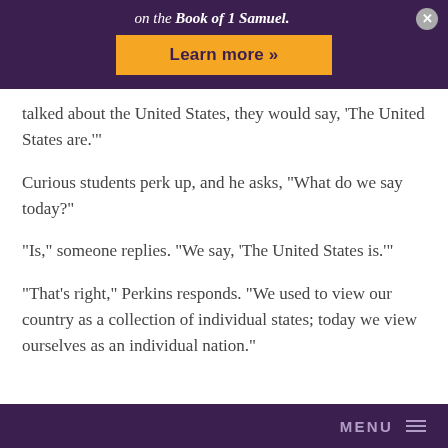on the Book of 1 Samuel.
talked about the United States, they would say, 'The United States are.'"
Curious students perk up, and he asks, "What do we say today?"
"Is," someone replies. "We say, 'The United States is.'"
"That's right," Perkins responds. "We used to view our country as a collection of individual states; today we view ourselves as an individual nation."
MENU